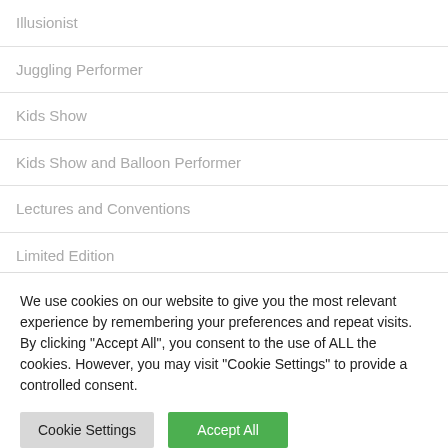Illusionist
Juggling Performer
Kids Show
Kids Show and Balloon Performer
Lectures and Conventions
Limited Edition
Magazines
Magic Kits
We use cookies on our website to give you the most relevant experience by remembering your preferences and repeat visits. By clicking "Accept All", you consent to the use of ALL the cookies. However, you may visit "Cookie Settings" to provide a controlled consent.
Cookie Settings | Accept All